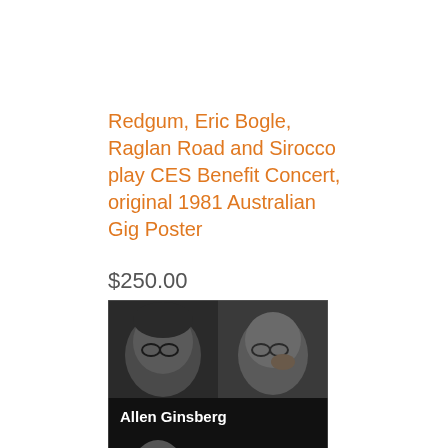Redgum, Eric Bogle, Raglan Road and Sirocco play CES Benefit Concert, original 1981 Australian Gig Poster
$250.00
[Figure (photo): Book cover of 'Allen Ginsberg: spontaneous mind — Selected Interviews 1958–1996', black and white with orange title text, showing multiple portraits of Allen Ginsberg with glasses]